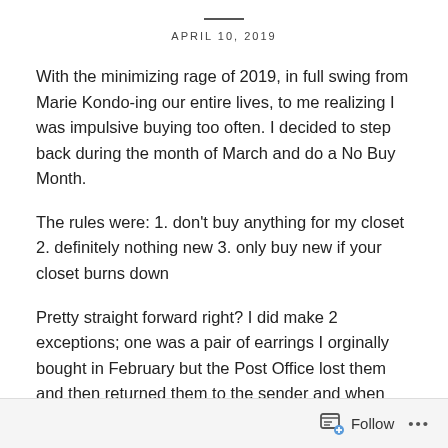APRIL 10, 2019
With the minimizing rage of 2019, in full swing from Marie Kondo-ing our entire lives, to me realizing I was impulsive buying too often. I decided to step back during the month of March and do a No Buy Month.
The rules were: 1. don't buy anything for my closet 2. definitely nothing new 3. only buy new if your closet burns down
Pretty straight forward right? I did make 2 exceptions; one was a pair of earrings I orginally bought in February but the Post Office lost them and then returned them to the sender and when they arrived back to the sender in mid-March I said I still wanted them. So they sent them back to me. The other was a skinny scarf I purchased at the very beginning of the month
Follow ...